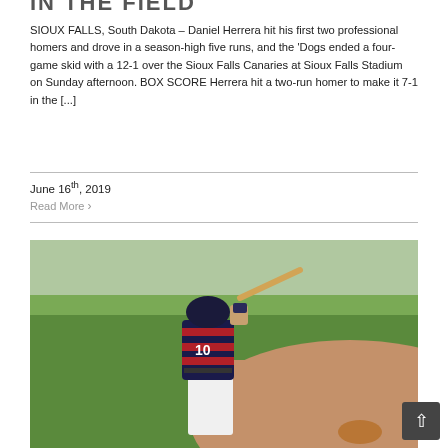[Title text partially cut off at top]
SIOUX FALLS, South Dakota – Daniel Herrera hit his first two professional homers and drove in a season-high five runs, and the 'Dogs ended a four-game skid with a 12-1 over the Sioux Falls Canaries at Sioux Falls Stadium on Sunday afternoon. BOX SCORE Herrera hit a two-run homer to make it 7-1 in the [...]
June 16th, 2019
Read More ›
[Figure (photo): Baseball player in patriotic uniform with number 10, swinging a bat at a stadium with green grass and dirt infield visible]